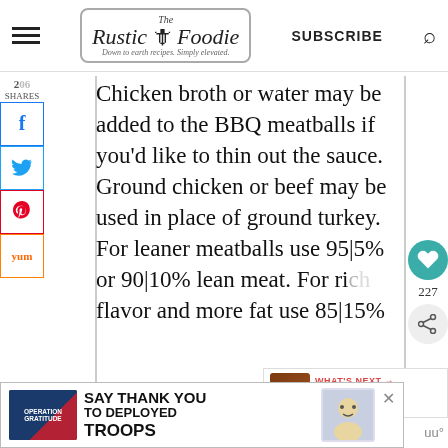[Figure (logo): The Rustic Foodie blog header with hamburger menu, logo, SUBSCRIBE text, and search icon]
206
SHARES
Chicken broth or water may be added to the BBQ meatballs if you'd like to thin out the sauce. Ground chicken or beef may be used in place of ground turkey. For leaner meatballs use 95|5% or 90|10% lean meat. For ri... flavor and more fat use 85|15%
227
WHAT'S NEXT → Teriyaki Turkey...
[Figure (infographic): Operation Gratitude ad: SAY THANK YOU TO DEPLOYED TROOPS]
uu°